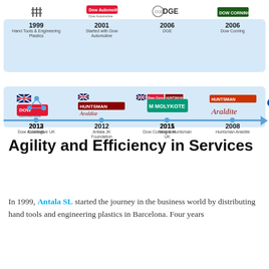[Figure (infographic): A horizontal timeline showing company milestones from 1999 to 2019. Key events: 1999 Hand Tools & Engineering Plastics, 2001 Started with Dow Automotive, 2006 DGE, 2006 Dow Corning, 2012 Dow Automotive UK, 2012 Antala JK Foundation, 2011 Molykote, 2008 Huntsman Araldite, 2013 Coatings, 2015 Dow Corning & Huntsman UK, 2017 Krytox, Jax & Tectyl, 2019 Chemicals >80% Turnover. Logos are shown above milestones.]
Agility and Efficiency in Services
In 1999, Antala SL started the journey in the business world by distributing hand tools and engineering plastics in Barcelona. Four years